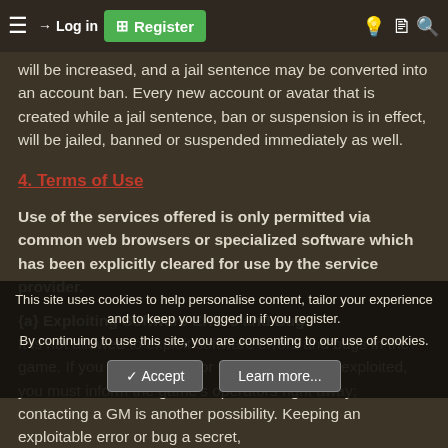Navigation bar with hamburger menu, Log in, Register, and icons
will be increased, and a jail sentence may be converted into an account ban. Every new account or avatar that is created while a jail sentence, ban or suspension is in effect, will be jailed, banned or suspended immediately as well.
4. Terms of Use
Use of the services offered is only permitted via common web browsers or specialized software which has been explicitly cleared for use by the service provider.
{a} Exploiting Software Errors and Bugs
It is not allowed to exploit software errors and bugs in the game. If you spot an error or bug that could be exploited, you must inform the game's operators right away; contacting a GM is another possibility. Keeping an exploitable error or bug a secret,
or GMs of an exploitable error, will also be considered a breach...
(b)
This site uses cookies to help personalise content, tailor your experience and to keep you logged in if you register. By continuing to use this site, you are consenting to our use of cookies.